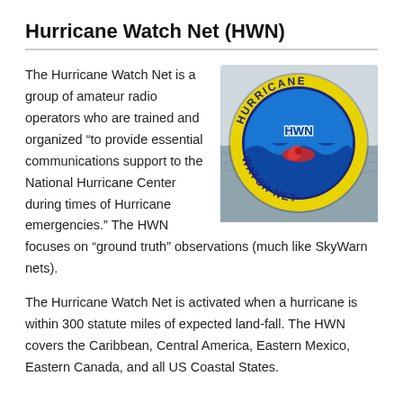Hurricane Watch Net (HWN)
[Figure (logo): Hurricane Watch Net (HWN) circular logo badge on a coastal/ocean background image. The badge has a yellow outer ring with text 'HURRICANE' at the top and 'WATCH NET' at the bottom in dark blue. The center is blue with stylized waves, a red hurricane symbol, and 'HWN' text in blue.]
The Hurricane Watch Net is a group of amateur radio operators who are trained and organized “to provide essential communications support to the National Hurricane Center during times of Hurricane emergencies.” The HWN focuses on “ground truth” observations (much like SkyWarn nets).
The Hurricane Watch Net is activated when a hurricane is within 300 statute miles of expected land-fall. The HWN covers the Caribbean, Central America, Eastern Mexico, Eastern Canada, and all US Coastal States.